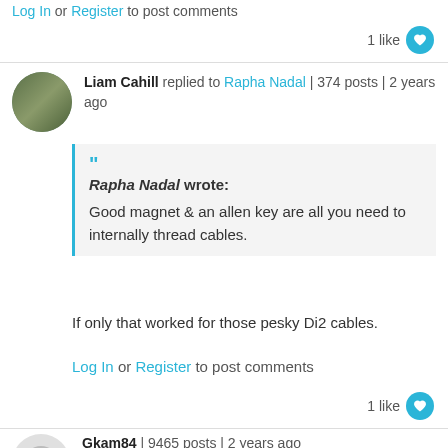Log In or Register to post comments
1 like
Liam Cahill replied to Rapha Nadal | 374 posts | 2 years ago
Rapha Nadal wrote: Good magnet & an allen key are all you need to internally thread cables.
If only that worked for those pesky Di2 cables.
Log In or Register to post comments
1 like
Gkam84 | 9465 posts | 2 years ago
Whatever you do, don't get ripped off by buying this "Pro" logoed tool, especially when X-Tools have exactly the same thing https://www.wiggle.co.uk/x-tools-internal-cable-routing-tool/#.X7ZNMtQiEYk=